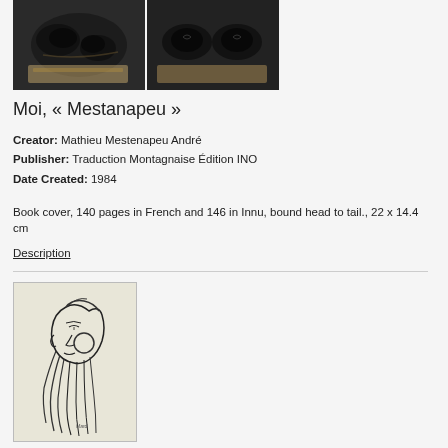[Figure (photo): Two photographs of dark/black organic artifacts on beige fabric against dark background]
Moi, « Mestanapeu »
Creator: Mathieu Mestenapeu André
Publisher: Traduction Montagnaise Édition INO
Date Created: 1984
Book cover, 140 pages in French and 146 in Innu, bound head to tail., 22 x 14.4 cm
Description
[Figure (illustration): Book cover illustration: pencil/ink sketch of a woman's head in profile facing left, with flowing hair]